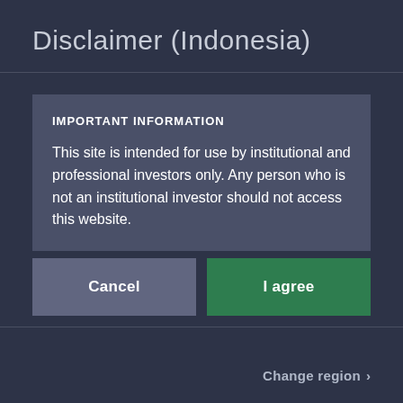Disclaimer (Indonesia)
IMPORTANT INFORMATION
This site is intended for use by institutional and professional investors only. Any person who is not an institutional investor should not access this website.
Cancel
I agree
Change region >